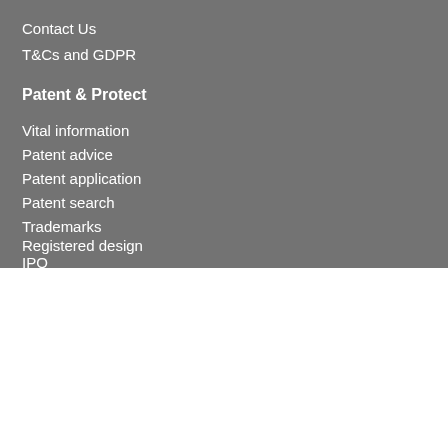Contact Us
T&Cs and GDPR
Patent & Protect
Vital information
Patent advice
Patent application
Patent search
Trademarks
Registered design
IPO
We use cookies on our website to give you the most relevant experience by remembering your preferences and repeat visits. By clicking “Accept”, you consent to the use of ALL the cookies.
Manage Options
Accept All